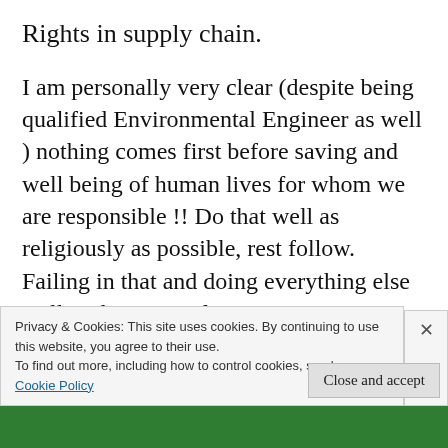Rights in supply chain.
I am personally very clear (despite being qualified Environmental Engineer as well ) nothing comes first before saving and well being of human lives for whom we are responsible !! Do that well as religiously as possible, rest follow. Failing in that and doing everything else well in the name of Environment, CSR etc etc etc would lead organization to nowhere !!!! EOD!!!
Privacy & Cookies: This site uses cookies. By continuing to use this website, you agree to their use.
To find out more, including how to control cookies, see here:
Cookie Policy
Close and accept